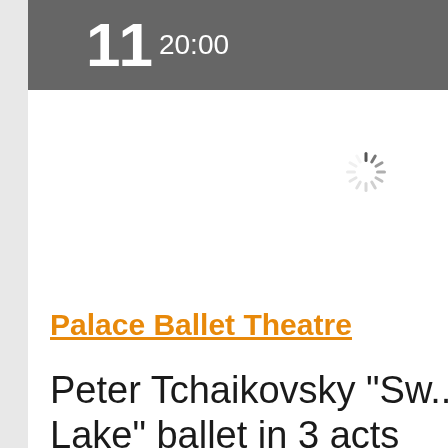11 20:00
[Figure (other): Loading spinner icon (animated circular loading indicator) in grey tones]
Palace Ballet Theatre
Peter Tchaikovsky "Sw... Lake" ballet in 3 acts